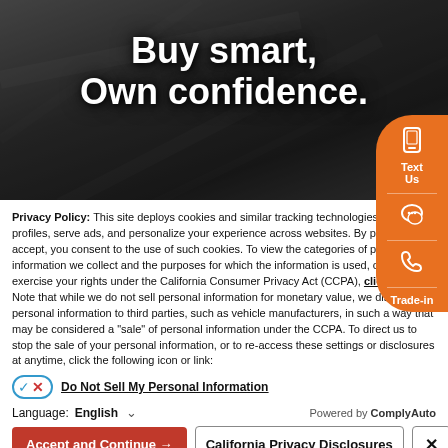[Figure (illustration): Dark hero banner image with car dealership background and bold white text reading 'Buy smart, Own confidence.']
Privacy Policy: This site deploys cookies and similar tracking technologies to build profiles, serve ads, and personalize your experience across websites. By pressing accept, you consent to the use of such cookies. To view the categories of personal information we collect and the purposes for which the information is used, or to exercise your rights under the California Consumer Privacy Act (CCPA), click here. Note that while we do not sell personal information for monetary value, we disclose personal information to third parties, such as vehicle manufacturers, in such a way that may be considered a "sale" of personal information under the CCPA. To direct us to stop the sale of your personal information, or to re-access these settings or disclosures at anytime, click the following icon or link:
Do Not Sell My Personal Information
Language: English
Powered by ComplyAuto
Accept and Continue →
California Privacy Disclosures